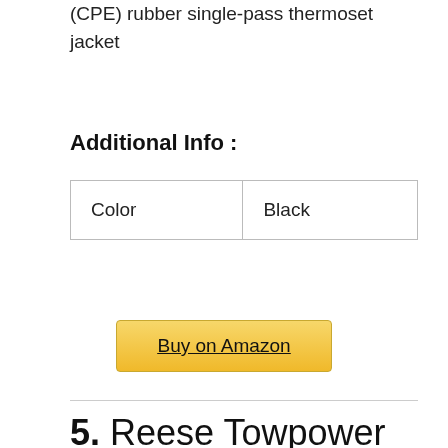(CPE) rubber single-pass thermoset jacket
Additional Info :
| Color | Black |
Buy on Amazon
5. Reese Towpower 11004 18″ Hitch Box Extension